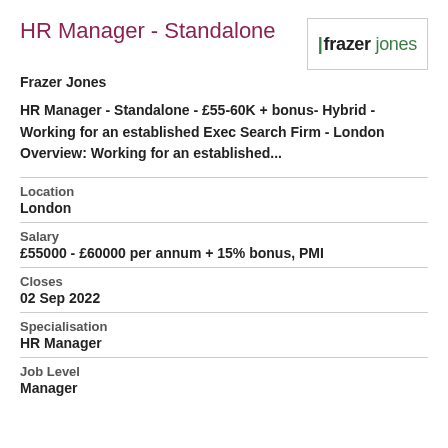HR Manager - Standalone
[Figure (logo): Frazer Jones company logo with green vertical bar and text 'frazer jones' in green]
Frazer Jones
HR Manager - Standalone - £55-60K + bonus- Hybrid - Working for an established Exec Search Firm - London Overview: Working for an established...
Location
London
Salary
£55000 - £60000 per annum + 15% bonus, PMI
Closes
02 Sep 2022
Specialisation
HR Manager
Job Level
Manager